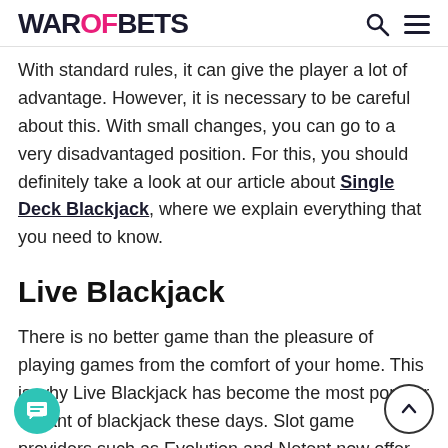WAROFBETS
With standard rules, it can give the player a lot of advantage. However, it is necessary to be careful about this. With small changes, you can go to a very disadvantaged position. For this, you should definitely take a look at our article about Single Deck Blackjack, where we explain everything that you need to know.
Live Blackjack
There is no better game than the pleasure of playing games from the comfort of your home. This is why Live Blackjack has become the most popular variant of blackjack these days. Slot game providers such as Evolution and Netent now offer live blackjack games. It